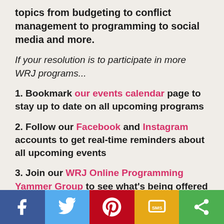topics from budgeting to conflict management to programming to social media and more.
If your resolution is to participate in more WRJ programs...
1. Bookmark our events calendar page to stay up to date on all upcoming programs
2. Follow our Facebook and Instagram accounts to get real-time reminders about all upcoming events
3. Join our WRJ Online Programming Yammer Group to see what's being offered at the district and local level, too!
If your resolution is to bring more members into your sisterhood...
Social share bar with Facebook, Twitter, Pinterest, SMS, Share icons